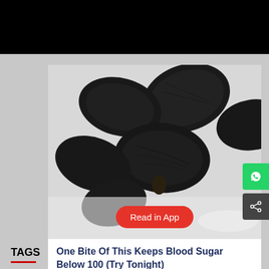[Figure (photo): Close-up photo of black cardamom (or similar dark dried seeds/pods) on a white surface, with a red pill-shaped 'Read in App' button overlaid at the bottom center]
One Bite Of This Keeps Blood Sugar Below 100 (Try Tonight)
TAGS